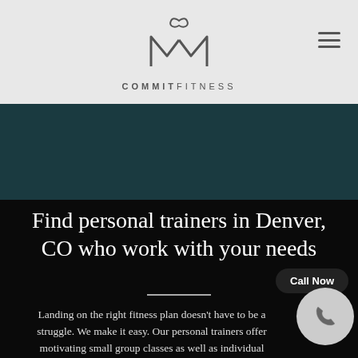[Figure (logo): Commit Fitness logo — stylized MW monogram with a loop on top, above text COMMITFITNESS in spaced caps]
✆ (720) 524-6376   📍 COMMIT FITNESS
Find personal trainers in Denver, CO who work with your needs
Landing on the right fitness plan doesn't have to be a struggle. We make it easy. Our personal trainers offer motivating small group classes as well as individual sessions.  All of our programs